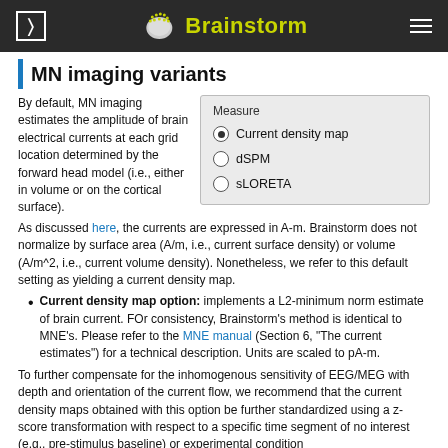Brainstorm
MN imaging variants
By default, MN imaging estimates the amplitude of brain electrical currents at each grid location determined by the forward head model (i.e., either in volume or on the cortical surface).
[Figure (screenshot): Measure panel with radio buttons: Current density map (selected), dSPM, sLORETA]
As discussed here, the currents are expressed in A-m. Brainstorm does not normalize by surface area (A/m, i.e., current surface density) or volume (A/m^2, i.e., current volume density). Nonetheless, we refer to this default setting as yielding a current density map.
Current density map option: implements a L2-minimum norm estimate of brain current. FOr consistency, Brainstorm's method is identical to MNE's. Please refer to the MNE manual (Section 6, "The current estimates") for a technical description. Units are scaled to pA-m.
To further compensate for the inhomogenous sensitivity of EEG/MEG with depth and orientation of the current flow, we recommend that the current density maps obtained with this option be further standardized using a z-score transformation with respect to a specific time segment of no interest (e.g., pre-stimulus baseline) or experimental condition